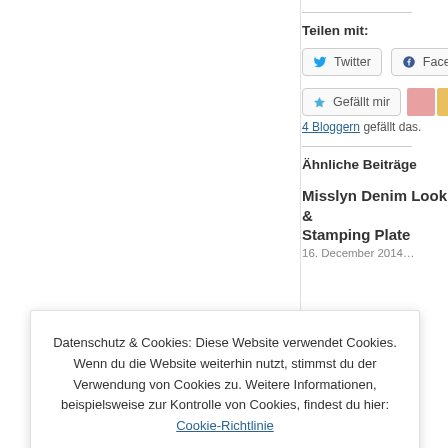Teilen mit:
[Figure (screenshot): Twitter share button (bird icon + 'Twitter')]
[Figure (screenshot): Facebook share button (circle fb icon + 'Faceb...')]
[Figure (screenshot): Gefällt mir (Like) button with star icon, followed by two avatar thumbnails]
4 Bloggern gefällt das.
Ähnliche Beiträge
Misslyn Denim Look & Stamping Plate
Datenschutz & Cookies: Diese Website verwendet Cookies. Wenn du die Website weiterhin nutzt, stimmst du der Verwendung von Cookies zu. Weitere Informationen, beispielsweise zur Kontrolle von Cookies, findest du hier: Cookie-Richtlinie
Schließen und Akzeptieren